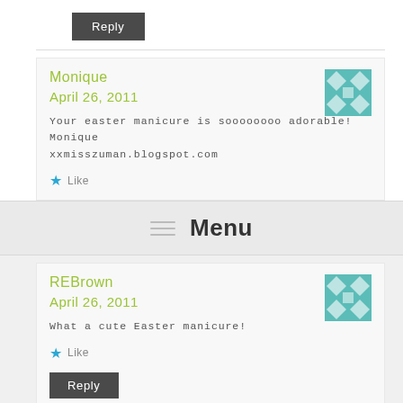Reply
Monique
April 26, 2011
Your easter manicure is soooooooo adorable! Monique xxmisszuman.blogspot.com
Like
Menu
REBrown
April 26, 2011
What a cute Easter manicure!
Like